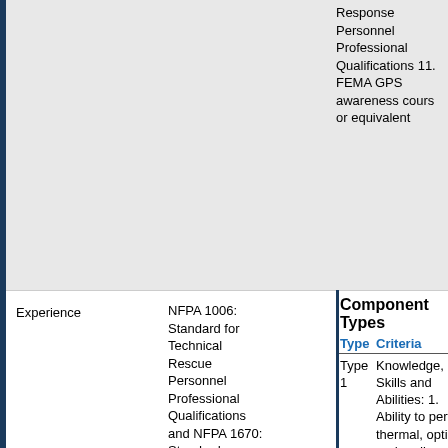Response Personnel Professional Qualifications 11. FEMA GPS awareness course or equivalent
Experience
NFPA 1006: Standard for Technical Rescue Personnel Professional Qualifications and NFPA 1670: Standard on Operations and Training for Technical Search and Rescue Incidents address these requirements.
| Type | Criteria |
| --- | --- |
| Type 1 | Knowledge, Skills and Abilities: 1. Ability to perform thermal, optical and audio search operations 2. Knowledge of structural collapse search and associated hazards, including recognition of the various types of building/structural... |